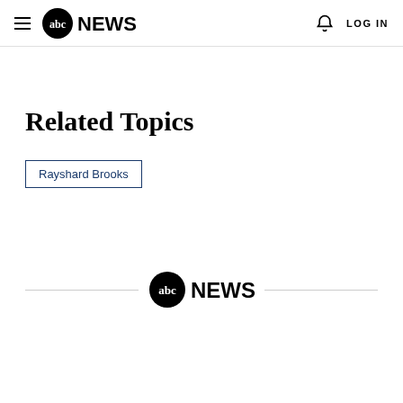abc NEWS  LOG IN
Related Topics
Rayshard Brooks
[Figure (logo): ABC News logo in footer with horizontal lines on each side]